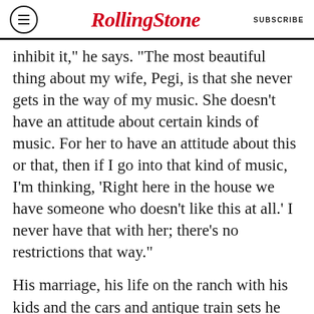RollingStone  SUBSCRIBE
inhibit it," he says. "The most beautiful thing about my wife, Pegi, is that she never gets in the way of my music. She doesn't have an attitude about certain kinds of music. For her to have an attitude about this or that, then if I go into that kind of music, I'm thinking, 'Right here in the house we have someone who doesn't like this at all.' I never have that with her; there's no restrictions that way."
His marriage, his life on the ranch with his kids and the cars and antique train sets he collects serve as the truest metaphor for Young's work. "The real music of my life is my family," he says. "I didn't keep this marriage together just by doing the same thing over again that I was doing when I